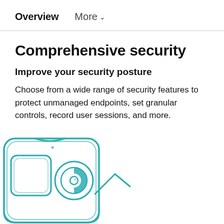Overview   More ∨
Comprehensive security
Improve your security posture
Choose from a wide range of security features to protect unmanaged endpoints, set granular controls, record user sessions, and more.
[Figure (illustration): Teal/cyan hand-drawn style illustration of a smartphone with a lock/security icon on its screen, partially visible at the bottom of the page]